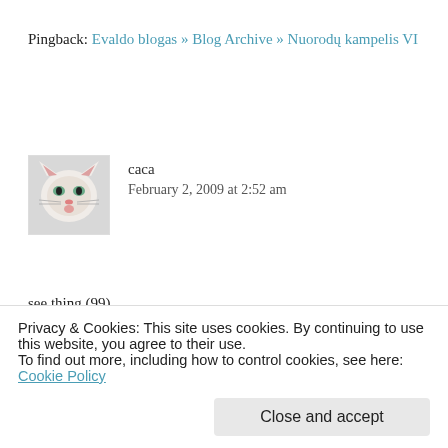Pingback: Evaldo blogas » Blog Archive » Nuorodų kampelis VI
[Figure (photo): Small avatar image of a white cat/kitten]
caca
February 2, 2009 at 2:52 am
see thing (99)
Yes 🙂
Reply ↓
Privacy & Cookies: This site uses cookies. By continuing to use this website, you agree to their use.
To find out more, including how to control cookies, see here: Cookie Policy
Close and accept